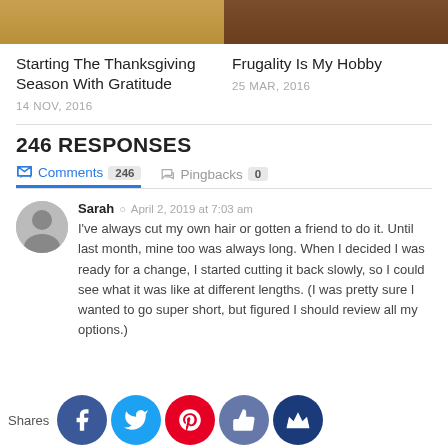[Figure (photo): Two side-by-side cropped blog post thumbnail images at top of page]
Starting The Thanksgiving Season With Gratitude
14 NOV, 2016
Frugality Is My Hobby
25 MAR, 2016
246 RESPONSES
Comments 246   Pingbacks 0
Sarah   April 2, 2019 at 7:03 am
I've always cut my own hair or gotten a friend to do it. Until last month, mine too was always long. When I decided I was ready for a change, I started cutting it back slowly, so I could see what it was like at different lengths. (I was pretty sure I wanted to go super short, but figured I should review all my options.)
Shares